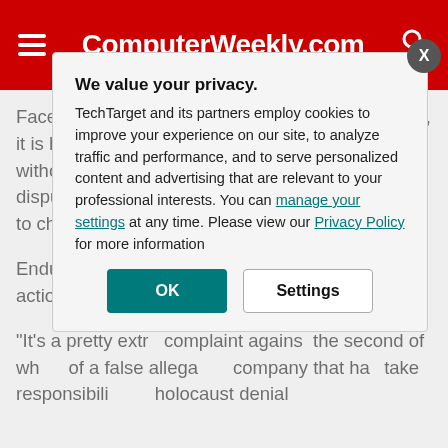ComputerWeekly.com
Facebook to prove the webpage's malicious intent, it is highly unusual for an ISP to take such action without first seeking to verify the claims through dispute resolution procedures that allow operators to challenge any allegations.
Endurance Inter... respond to Com... action by the tim...
“It’s a pretty extr... complaint agains... the second of wh... of a false allega... company that ha... take responsibili... holocaust denial...
We value your privacy.
TechTarget and its partners employ cookies to improve your experience on our site, to analyze traffic and performance, and to serve personalized content and advertising that are relevant to your professional interests. You can manage your settings at any time. Please view our Privacy Policy for more information